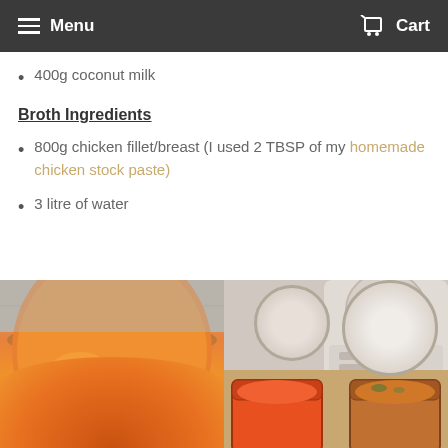Menu   Cart
400g coconut milk
Broth Ingredients
800g chicken fillet/breast (I used 2 TBSP of my homemade chicken stock paste)
3 litre of water
[Figure (photo): Close-up of orange/yellow curry soup in a large pot]
[Figure (photo): Two glass jars filled with red and orange spice paste, with a food processor in the background]